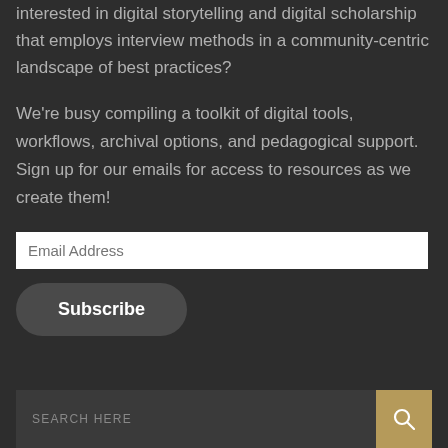interested in digital storytelling and digital scholarship that employs interview methods in a community-centric landscape of best practices?
We're busy compiling a toolkit of digital tools, workflows, archival options, and pedagogical support. Sign up for our emails for access to resources as we create them!
[Figure (screenshot): Email address input field (white text box) with placeholder text 'Email Address', followed by a rounded 'Subscribe' button in dark gray]
[Figure (screenshot): Search bar with placeholder text 'SEARCH HERE' in dark gray background, with a gold/tan search button on the right showing a magnifying glass icon]